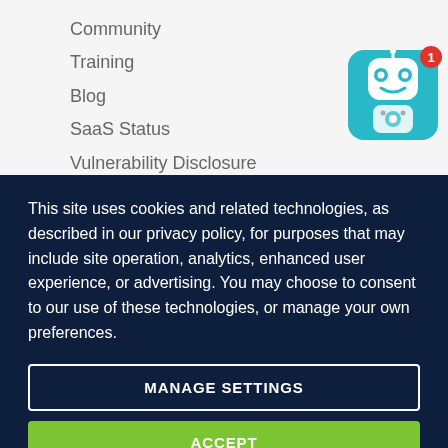Community
Training
Blog
SaaS Status
Vulnerability Disclosure
[Figure (illustration): Robot/chatbot icon with a notification badge showing number 1, on a teal/cyan background]
This site uses cookies and related technologies, as described in our privacy policy, for purposes that may include site operation, analytics, enhanced user experience, or advertising. You may choose to consent to our use of these technologies, or manage your own preferences.
MANAGE SETTINGS
ACCEPT
DECLINE ALL